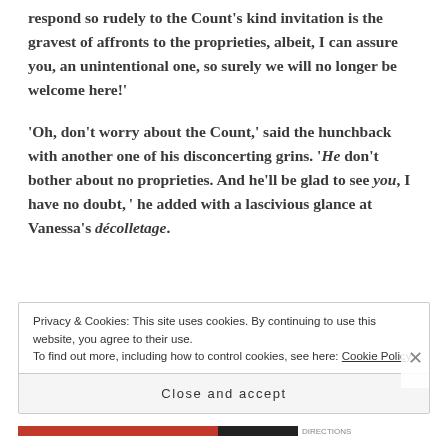respond so rudely to the Count's kind invitation is the gravest of affronts to the proprieties, albeit, I can assure you, an unintentional one, so surely we will no longer be welcome here!'
'Oh, don't worry about the Count,' said the hunchback with another one of his disconcerting grins. 'He don't bother about no proprieties. And he'll be glad to see you, I have no doubt, ' he added with a lascivious glance at Vanessa's décolletage.
Privacy & Cookies: This site uses cookies. By continuing to use this website, you agree to their use. To find out more, including how to control cookies, see here: Cookie Policy
Close and accept